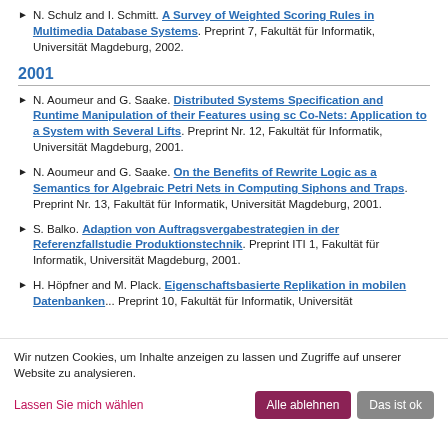N. Schulz and I. Schmitt. A Survey of Weighted Scoring Rules in Multimedia Database Systems. Preprint 7, Fakultät für Informatik, Universität Magdeburg, 2002.
2001
N. Aoumeur and G. Saake. Distributed Systems Specification and Runtime Manipulation of their Features using sc Co-Nets: Application to a System with Several Lifts. Preprint Nr. 12, Fakultät für Informatik, Universität Magdeburg, 2001.
N. Aoumeur and G. Saake. On the Benefits of Rewrite Logic as a Semantics for Algebraic Petri Nets in Computing Siphons and Traps. Preprint Nr. 13, Fakultät für Informatik, Universität Magdeburg, 2001.
S. Balko. Adaption von Auftragsvergabestrategien in der Referenzfallstudie Produktionstechnik. Preprint ITI 1, Fakultät für Informatik, Universität Magdeburg, 2001.
H. Höpfner and M. Plack. Eigenschaftsbasierte Replikation in mobilen Datenbanken... Preprint 10, Fakultät für Informatik, Universität...
Wir nutzen Cookies, um Inhalte anzeigen zu lassen und Zugriffe auf unserer Website zu analysieren.
Lassen Sie mich wählen
Alle ablehnen
Das ist ok